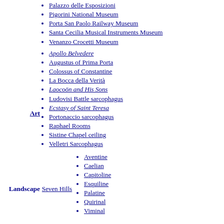Palazzo delle Esposizioni
Pigorini National Museum
Porta San Paolo Railway Museum
Santa Cecilia Musical Instruments Museum
Venanzo Crocetti Museum
Art
Apollo Belvedere
Augustus of Prima Porta
Colossus of Constantine
La Bocca della Verità
Laocoön and His Sons
Ludovisi Battle sarcophagus
Ecstasy of Saint Teresa
Portonaccio sarcophagus
Raphael Rooms
Sistine Chapel ceiling
Velletri Sarcophagus
Landscape
Seven Hills
Aventine
Caelian
Capitoline
Esquiline
Palatine
Quirinal
Viminal